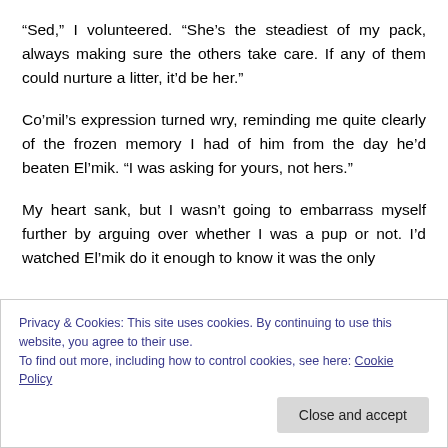“Sed,” I volunteered. “She’s the steadiest of my pack, always making sure the others take care. If any of them could nurture a litter, it’d be her.”
Co’mil’s expression turned wry, reminding me quite clearly of the frozen memory I had of him from the day he’d beaten El’mik. “I was asking for yours, not hers.”
My heart sank, but I wasn’t going to embarrass myself further by arguing over whether I was a pup or not. I’d watched El’mik do it enough to know it was the only
Privacy & Cookies: This site uses cookies. By continuing to use this website, you agree to their use.
To find out more, including how to control cookies, see here: Cookie Policy
Close and accept